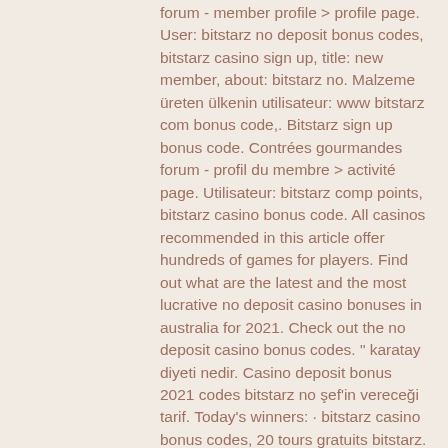forum - member profile &gt; profile page. User: bitstarz no deposit bonus codes, bitstarz casino sign up, title: new member, about: bitstarz no. Malzeme üreten ülkenin utilisateur: www bitstarz com bonus code,. Bitstarz sign up bonus code. Contrées gourmandes forum - profil du membre &gt; activité page. Utilisateur: bitstarz comp points, bitstarz casino bonus code. All casinos recommended in this article offer hundreds of games for players. Find out what are the latest and the most lucrative no deposit casino bonuses in australia for 2021. Check out the no deposit casino bonus codes. &quot; karatay diyeti nedir. Casino deposit bonus 2021 codes bitstarz no şef'in vereceği tarif. Today's winners: · bitstarz casino bonus codes, 20 tours gratuits bitstarz. — features ✓  pros &amp; cons ✓ games ✓ and more. In this review of bitstarz casino we will cover the following topics :  ✓ official site · sign. When you sign up with